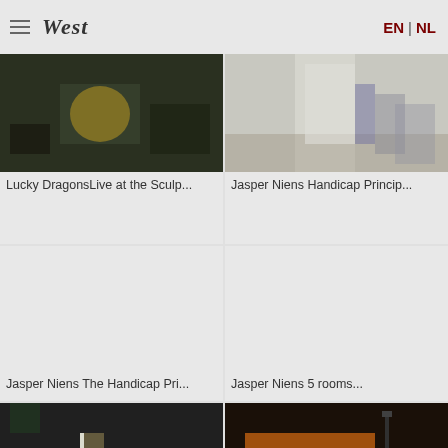West | EN | NL
Lucky DragonsLive at the Sculp...
Jasper Niens Handicap Princip...
Jasper Niens The Handicap Pri...
Jasper Niens 5 rooms...
Haroon Mirza Stage Fright, 20...
Haroon Mirza Adhān (ins...